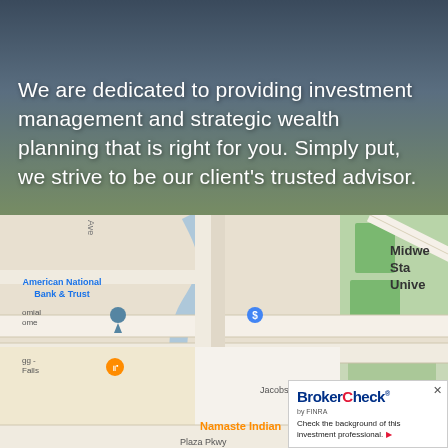We are dedicated to providing investment management and strategic wealth planning that is right for you. Simply put, we strive to be our client's trusted advisor.
[Figure (map): Google Maps screenshot showing area around Midwestern State University in Wichita Falls, TX. Landmarks visible include American National Bank & Trust, Bruce and Graciela Redwine Student..., Wichita Falls Museum of Art, Namaste Indian restaurant, and streets including Jacobs Dr, Gladney Ln, Louis J Rodriguez Dr, Plaza Pkwy.]
[Figure (logo): BrokerCheck by FINRA badge in bottom-right corner with text 'Check the background of this investment professional.' and a close button.]